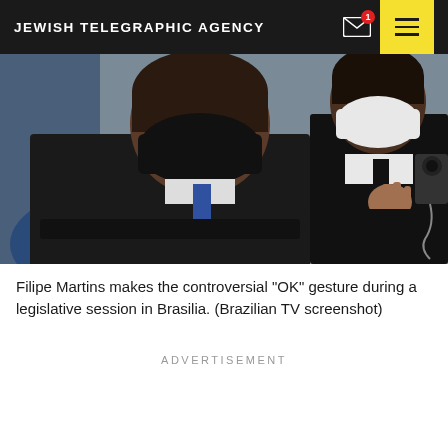JEWISH TELEGRAPHIC AGENCY
[Figure (photo): Two men in suits wearing face masks at a legislative session in Brasilia. The foreground figure in a black mask is leaning forward, and a person in a white mask stands behind.]
Filipe Martins makes the controversial "OK" gesture during a legislative session in Brasilia. (Brazilian TV screenshot)
ADVERTISEMENT